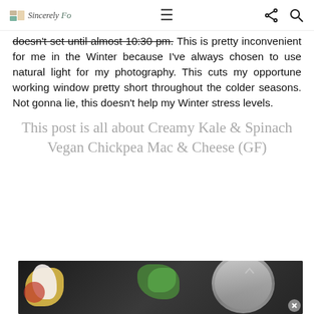Sincerely Fo — navigation header with hamburger menu, share icon, search icon
doesn't set until almost 10:30 pm. This is pretty inconvenient for me in the Winter because I've always chosen to use natural light for my photography. This cuts my opportune working window pretty short throughout the colder seasons. Not gonna lie, this doesn't help my Winter stress levels.
This post is all about Creamy Kale & Spinach Vegan Chickpea Mac & Cheese (GF)
[Figure (photo): Food photo on dark background showing colorful ingredients including greens and a silver bowl/pot, partially cut off at bottom of page]